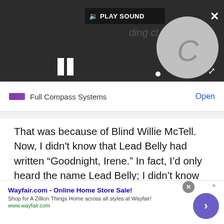[Figure (screenshot): Video player with dark background, loading spinner (gray circle with C), pause button, play sound button, close X button, and expand icon.]
Full Compass Systems   Open
That was because of Blind Willie McTell. Now, I didn't know that Lead Belly had written “Goodnight, Irene.” In fact, I’d only heard the name Lead Belly; I didn’t know about his connection with Pete Seeger or anything about the Weavers. [Seeger was a Weaver when their version of “Irene” hit in 1955.] I just liked th…
[Figure (screenshot): Bottom advertisement banner for Wayfair.com with title 'Wayfair.com - Online Home Store Sale!', subtitle 'Shop for A Zillion Things Home across all styles at Wayfair!', URL 'www.wayfair.com', close circle button, and purple arrow button.]